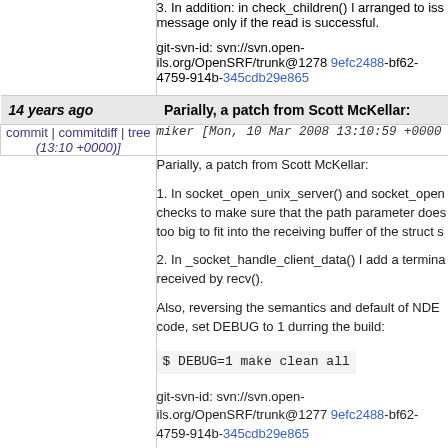3. In addition: in check_children() I arranged to iss message only if the read is successful.

git-svn-id: svn://svn.open-ils.org/OpenSRF/trunk@1278 9efc2488-bf62-4759-914b-345cdb29e865
14 years ago | Parially, a patch from Scott McKellar:
commit | commitdiff | tree (13:10 +0000)]  miker [Mon, 10 Mar 2008 13:10:59 +0000
Parially, a patch from Scott McKellar:

1. In socket_open_unix_server() and socket_open checks to make sure that the path parameter does too big to fit into the receiving buffer of the struct s

2. In _socket_handle_client_data() I add a termina received by recv().

Also, reversing the semantics and default of NDE code, set DEBUG to 1 durring the build:

 $ DEBUG=1 make clean all

git-svn-id: svn://svn.open-ils.org/OpenSRF/trunk@1277 9efc2488-bf62-4759-914b-345cdb29e865